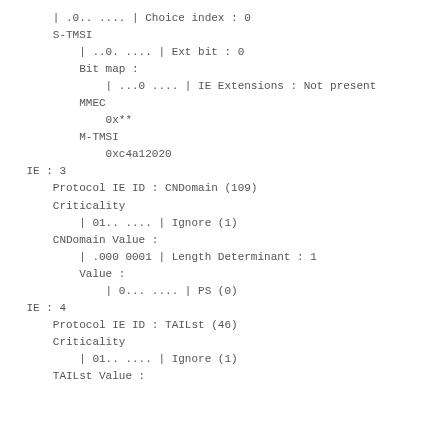| .0.. .... | Choice index : 0
    S-TMSI
        | ..0. .... | Ext bit : 0
        Bit map :
            | ...0 .... | IE Extensions : Not present
        MMEC
            0x**
        M-TMSI
            0xc4a12020
    IE : 3
        Protocol IE ID : CNDomain (109)
        Criticality
            | 01.. .... | Ignore (1)
        CNDomain Value :
            | .000 0001 | Length Determinant : 1
            Value :
                | 0... .... | PS (0)
    IE : 4
        Protocol IE ID : TAILst (46)
        Criticality
            | 01.. .... | Ignore (1)
        TAILst Value :